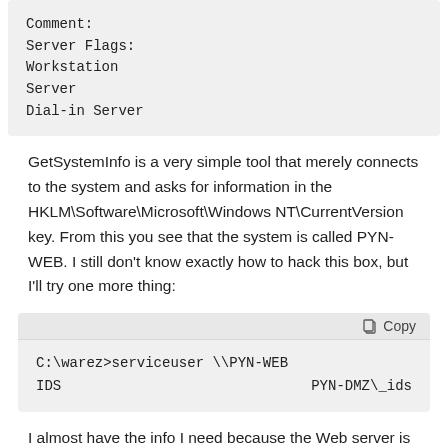Comment:
Server Flags:
Workstation
Server
Dial-in Server
GetSystemInfo is a very simple tool that merely connects to the system and asks for information in the HKLM\Software\Microsoft\Windows NT\CurrentVersion key. From this you see that the system is called PYN-WEB. I still don't know exactly how to hack this box, but I'll try one more thing:
C:\warez>serviceuser \\PYN-WEB
IDS                                    PYN-DMZ\_ids
I almost have the info I need because the Web server is also